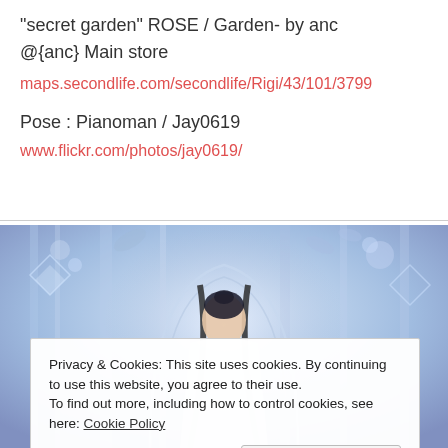"secret garden" ROSE / Garden- by anc
@{anc} Main store
maps.secondlife.com/secondlife/Rigi/43/101/3799
Pose : Pianoman / Jay0619
www.flickr.com/photos/jay0619/
[Figure (illustration): Fantasy scene with a woman in a white dress wearing a black headpiece, surrounded by blue/purple ethereal garden scenery with floral and crystal elements]
Privacy & Cookies: This site uses cookies. By continuing to use this website, you agree to their use.
To find out more, including how to control cookies, see here: Cookie Policy
Close and accept